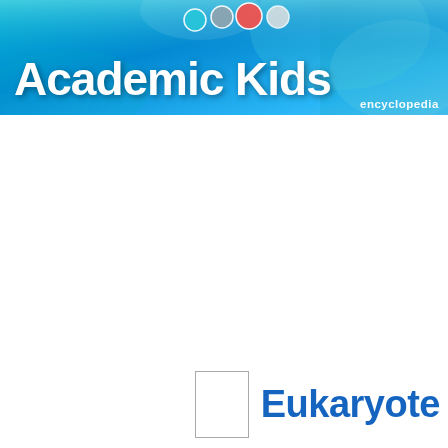[Figure (logo): Academic Kids encyclopedia banner header with teal/blue gradient background, colored dots (teal, gray, orange, white), and bold white text reading 'Academic Kids' with 'encyclopedia' in smaller text to the right.]
Eukaryote